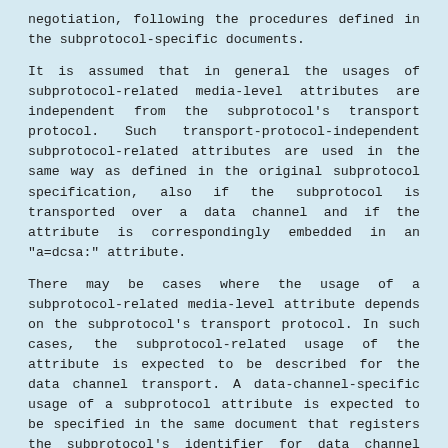negotiation, following the procedures defined in the subprotocol-specific documents.
It is assumed that in general the usages of subprotocol-related media-level attributes are independent from the subprotocol's transport protocol. Such transport-protocol-independent subprotocol-related attributes are used in the same way as defined in the original subprotocol specification, also if the subprotocol is transported over a data channel and if the attribute is correspondingly embedded in an "a=dcsa:" attribute.
There may be cases where the usage of a subprotocol-related media-level attribute depends on the subprotocol's transport protocol. In such cases, the subprotocol-related usage of the attribute is expected to be described for the data channel transport. A data-channel-specific usage of a subprotocol attribute is expected to be specified in the same document that registers the subprotocol's identifier for data channel usage as described in Section 9.1.
5.2.2  DCSA Multiplexing Category